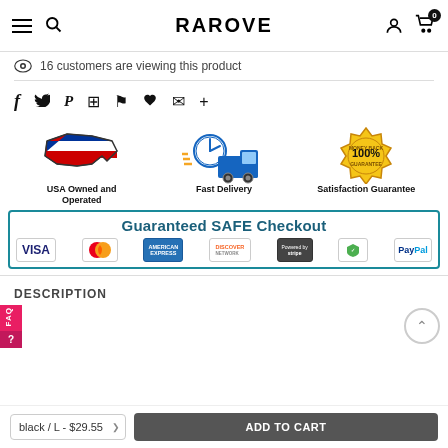RAROVE
16 customers are viewing this product
[Figure (infographic): Social share icons: Facebook, Twitter, Pinterest, Grid, Bookmark, Heart, Email, Plus]
[Figure (infographic): Trust badges: USA Owned and Operated, Fast Delivery, Satisfaction Guarantee with 100% Money Back Guarantee seal]
[Figure (infographic): Guaranteed SAFE Checkout banner with payment method logos: VISA, MasterCard, American Express, Discover Network, Stripe, AES-256, PayPal]
DESCRIPTION
black / L - $29.55
ADD TO CART